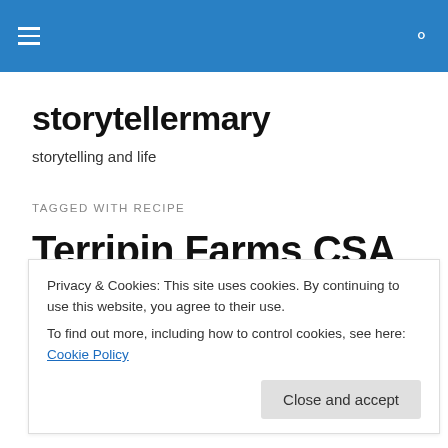storytellermary
storytelling and life
TAGGED WITH RECIPE
Terripin Farms CSA
Getting fresh, healthy veggies from my CSA has made a
Privacy & Cookies: This site uses cookies. By continuing to use this website, you agree to their use.
To find out more, including how to control cookies, see here: Cookie Policy
Close and accept